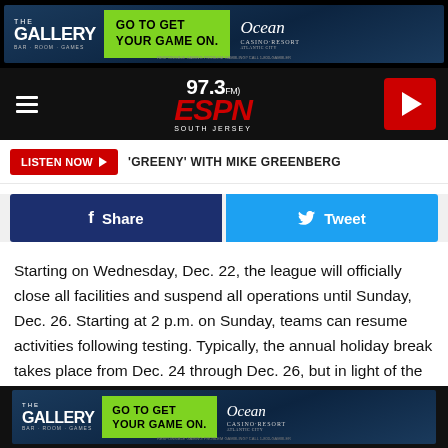[Figure (infographic): The Gallery casino resort advertisement banner showing 'GO TO GET YOUR GAME ON.' with Ocean Casino Resort branding on dark blue background]
[Figure (logo): 97.3 FM ESPN South Jersey radio station logo with hamburger menu and red play button]
LISTEN NOW  'GREENY' WITH MIKE GREENBERG
Share  Tweet
Starting on Wednesday, Dec. 22, the league will officially close all facilities and suspend all operations until Sunday, Dec. 26. Starting at 2 p.m. on Sunday, teams can resume activities following testing. Typically, the annual holiday break takes place from Dec. 24 through Dec. 26, but in light of the COVID surge, it was moved up by two days and will end one day earlier.
[Figure (infographic): The Gallery casino resort advertisement banner showing 'GO TO GET YOUR GAME ON.' with Ocean Casino Resort branding]